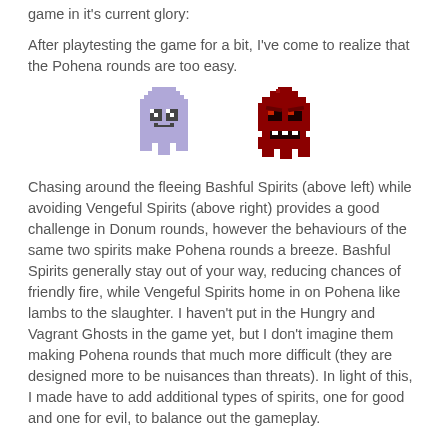game in it's current glory:
After playtesting the game for a bit, I've come to realize that the Pohena rounds are too easy.
[Figure (illustration): Two pixel art game sprites: a light purple/lavender ghost (Bashful Spirit) on the left, and a dark red/crimson angry ghost (Vengeful Spirit) on the right.]
Chasing around the fleeing Bashful Spirits (above left) while avoiding Vengeful Spirits (above right) provides a good challenge in Donum rounds, however the behaviours of the same two spirits make Pohena rounds a breeze. Bashful Spirits generally stay out of your way, reducing chances of friendly fire, while Vengeful Spirits home in on Pohena like lambs to the slaughter.  I haven't put in the Hungry and Vagrant Ghosts in the game yet, but I don't imagine them making Pohena rounds that much more difficult (they are designed more to be nuisances than threats).  In light of this, I made have to add additional types of spirits, one for good and one for evil, to balance out the gameplay.